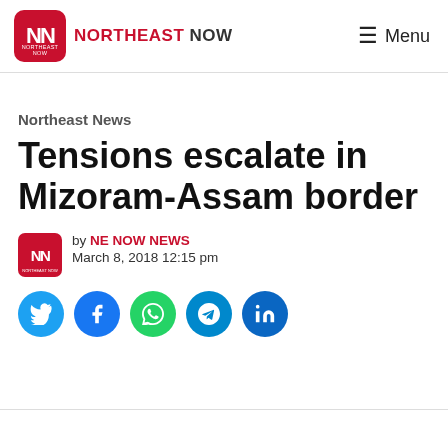NORTHEAST NOW  Menu
Northeast News
Tensions escalate in Mizoram-Assam border
by NE NOW NEWS
March 8, 2018 12:15 pm
[Figure (infographic): Social share buttons: Twitter, Facebook, WhatsApp, Telegram, LinkedIn]